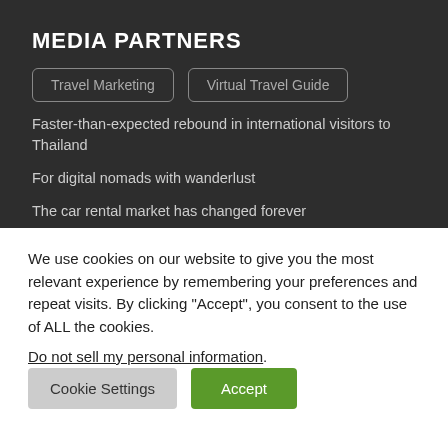MEDIA PARTNERS
Travel Marketing
Virtual Travel Guide
Faster-than-expected rebound in international visitors to Thailand
For digital nomads with wanderlust
The car rental market has changed forever
We use cookies on our website to give you the most relevant experience by remembering your preferences and repeat visits. By clicking “Accept”, you consent to the use of ALL the cookies.
Do not sell my personal information.
Cookie Settings
Accept